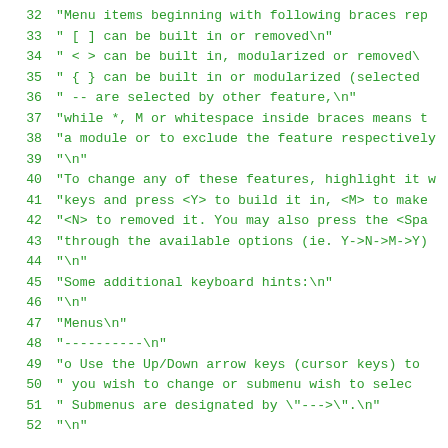Code listing lines 32-52 showing string constants for menu help text
32  "Menu items beginning with following braces rep
33  "  [ ] can be built in or removed\n"
34  "  < > can be built in, modularized or removed\
35  "  { } can be built in or modularized (selected
36  "  -- are selected by other feature,\n"
37  "while *, M or whitespace inside braces means t
38  "a module or to exclude the feature respectively
39  "\n"
40  "To change any of these features, highlight it w
41  "keys and press <Y> to build it in, <M> to make
42  "<N> to removed it.  You may also press the <Spa
43  "through the available options (ie. Y->N->M->Y)
44  "\n"
45  "Some additional keyboard hints:\n"
46  "\n"
47  "Menus\n"
48  "----------\n"
49  "o  Use the Up/Down arrow keys (cursor keys) to
50  "   you wish to change or submenu wish to selec
51  "   Submenus are designated by \"-->\".\.n"
52  "\n"